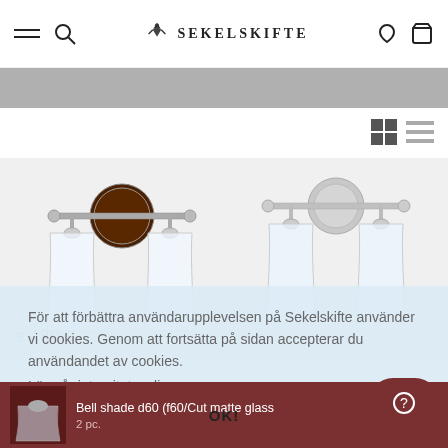Sekelskifte — navigation bar with hamburger menu, search, logo, heart and basket icons
[Figure (screenshot): Two wall lamp product images side by side — nickel/chrome wall-mounted 3-lamp fixtures with bell shades]
För att förbättra användarupplevelsen på Sekelskifte använder vi cookies. Genom att fortsätta på sidan accepterar du användandet av cookies.
Läs vår integritetspolicy.
5 480 :-
Bell shade d60 (f60/Cut matte glass
2 pc.
OK!